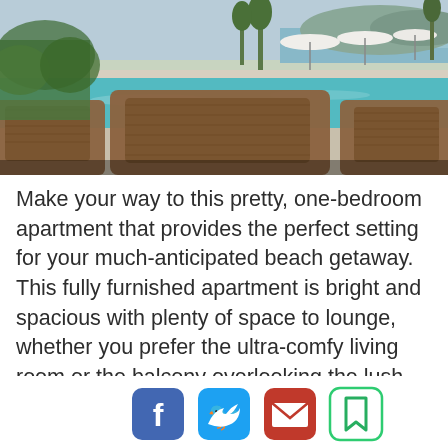[Figure (photo): Outdoor pool area with wicker lounge chairs in the foreground, a large swimming pool in the middle, white umbrellas and tropical trees in the background, with a mountain and water view.]
Make your way to this pretty, one-bedroom apartment that provides the perfect setting for your much-anticipated beach getaway. This fully furnished apartment is bright and spacious with plenty of space to lounge, whether you prefer the ultra-comfy living room or the balcony overlooking the lush gardens. Free Wi-Fi and cable TV are provided. The unit is found in a luxury residential community with a private beach, a large outdoor swimming pool, and beautifully lands
[Figure (other): Social sharing icons: Facebook (blue), Twitter (blue), Email/envelope (red), Bookmark (green)]